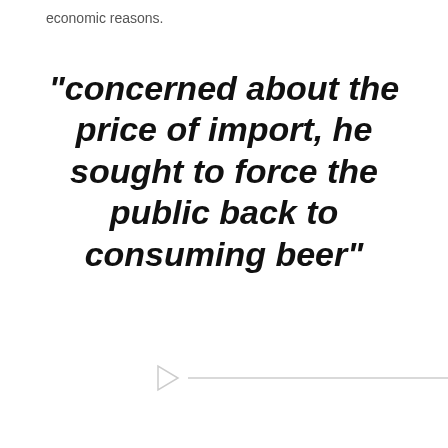economic reasons.
“concerned about the price of import, he sought to force the public back to consuming beer”
[Figure (other): Faint play button icon and a blurred horizontal media player bar element]